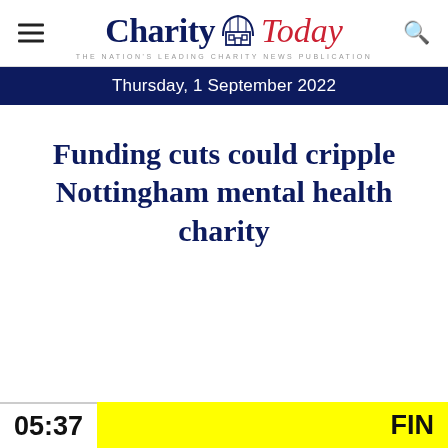Charity Today — THE NATION'S LEADING CHARITY NEWS PUBLICATION
Thursday, 1 September 2022
Funding cuts could cripple Nottingham mental health charity
05:37
FIN